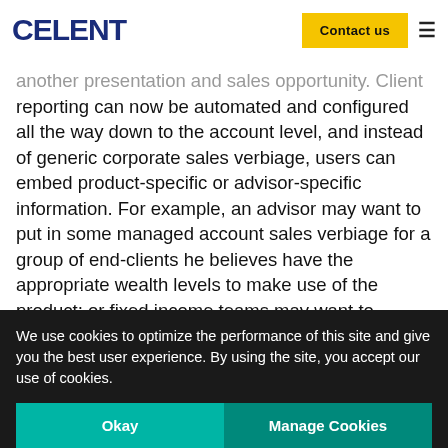CELENT
another presentation and sales opportunity. Client reporting can now be automated and configured all the way down to the account level, and instead of generic corporate sales verbiage, users can embed product-specific or advisor-specific information. For example, an advisor may want to put in some managed account sales verbiage for a group of end-clients he believes have the appropriate wealth levels to make use of the product; or fixed income teams may want to include the latest on municipal bonds. Furthermore, advisors can now generate ad hoc online reports with interactive
We use cookies to optimize the performance of this site and give you the best user experience. By using the site, you accept our use of cookies.
Okay
Manage Cookies